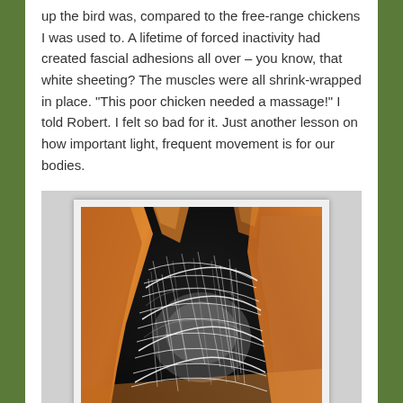up the bird was, compared to the free-range chickens I was used to. A lifetime of forced inactivity had created fascial adhesions all over – you know, that white sheeting? The muscles were all shrink-wrapped in place. "This poor chicken needed a massage!" I told Robert. I felt so bad for it. Just another lesson on how important light, frequent movement is for our bodies.
[Figure (photo): Close-up macro photograph of fascial tissue showing white fibrous connective tissue (fascia) with adhesions between orange/yellow muscle tissue against a dark background. The white stringy sheeting is clearly visible between the muscle bundles.]